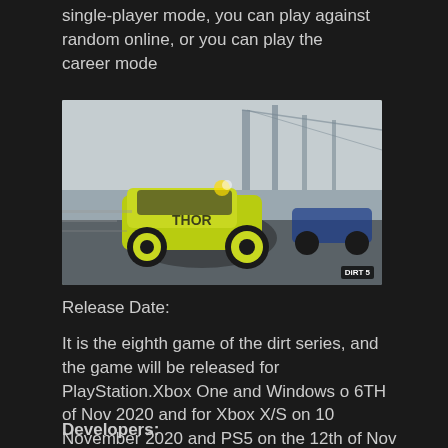single-player mode, you can play against random online, or you can play the career mode
[Figure (photo): Screenshot from Dirt 5 racing game showing a rally car with THOR livery in yellow/green colors racing on a wet track near a bridge structure]
Release Date:
It is the eighth game of the dirt series, and the game will be released for PlayStation.Xbox One and Windows o 6TH of Nov 2020 and for Xbox X/S on 10 November 2020 and PS5 on the 12th of Nov 2020.
Developers: